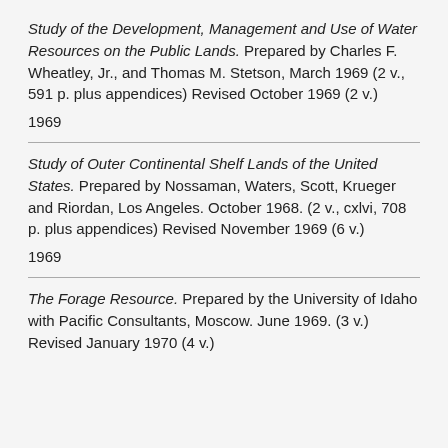Study of the Development, Management and Use of Water Resources on the Public Lands. Prepared by Charles F. Wheatley, Jr., and Thomas M. Stetson, March 1969 (2 v., 591 p. plus appendices) Revised October 1969 (2 v.)
1969
Study of Outer Continental Shelf Lands of the United States. Prepared by Nossaman, Waters, Scott, Krueger and Riordan, Los Angeles. October 1968. (2 v., cxlvi, 708 p. plus appendices) Revised November 1969 (6 v.)
1969
The Forage Resource. Prepared by the University of Idaho with Pacific Consultants, Moscow. June 1969. (3 v.) Revised January 1970 (4 v.)